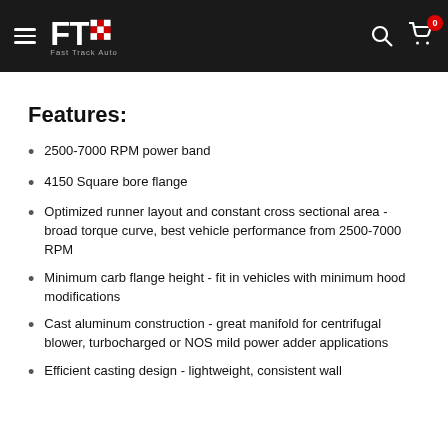Fast Track Auto — navigation header with logo, search icon, and cart (0)
Features:
2500-7000 RPM power band
4150 Square bore flange
Optimized runner layout and constant cross sectional area - broad torque curve, best vehicle performance from 2500-7000 RPM
Minimum carb flange height - fit in vehicles with minimum hood modifications
Cast aluminum construction - great manifold for centrifugal blower, turbocharged or NOS mild power adder applications
Efficient casting design - lightweight, consistent wall